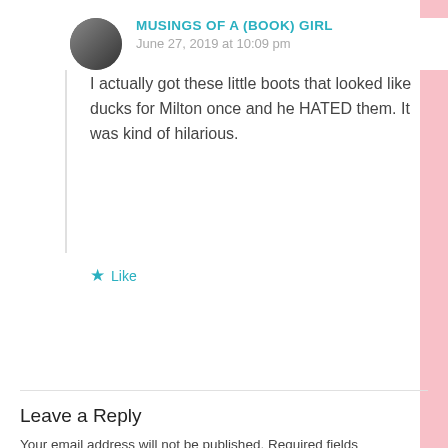MUSINGS OF A (BOOK) GIRL
June 27, 2019 at 10:09 pm
I actually got these little boots that looked like ducks for Milton once and he HATED them. It was kind of hilarious.
Like
Leave a Reply
Your email address will not be published. Required fields